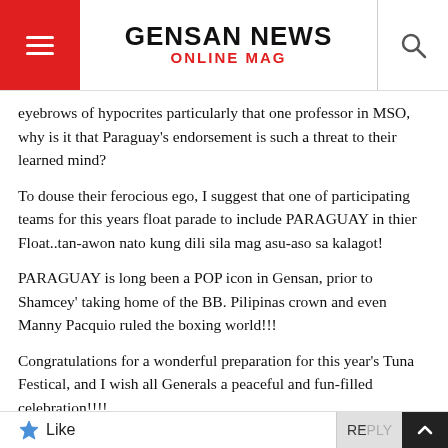GENSAN NEWS ONLINE MAG
eyebrows of hypocrites particularly that one professor in MSO, why is it that Paraguay's endorsement is such a threat to their learned mind?
To douse their ferocious ego, I suggest that one of participating teams for this years float parade to include PARAGUAY in thier Float..tan-awon nato kung dili sila mag asu-aso sa kalagot!
PARAGUAY is long been a POP icon in Gensan, prior to Shamcey' taking home of the BB. Pilipinas crown and even Manny Pacquio ruled the boxing world!!!
Congratulations for a wonderful preparation for this year's Tuna Festical, and I wish all Generals a peaceful and fun-filled celebration!!!!
Daghang Salamat!!!!